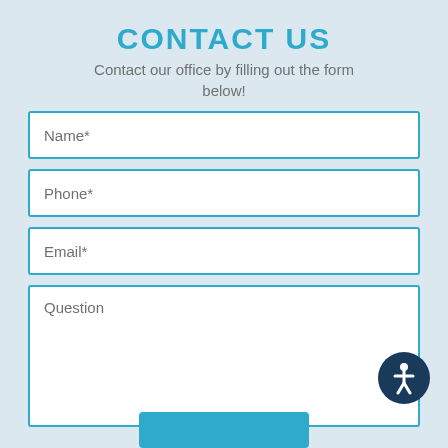CONTACT US
Contact our office by filling out the form below!
Name*
Phone*
Email*
Question